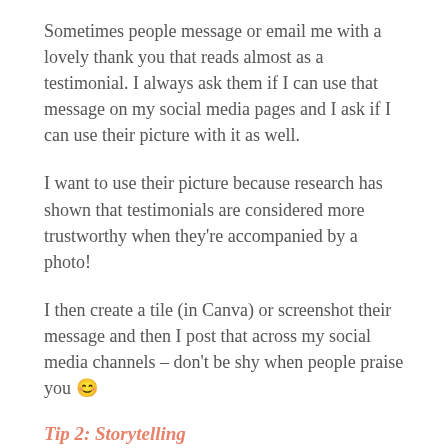Sometimes people message or email me with a lovely thank you that reads almost as a testimonial. I always ask them if I can use that message on my social media pages and I ask if I can use their picture with it as well.
I want to use their picture because research has shown that testimonials are considered more trustworthy when they're accompanied by a photo!
I then create a tile (in Canva) or screenshot their message and then I post that across my social media channels – don't be shy when people praise you 😊
Tip 2: Storytelling
Tell stories at your parties or showings. Tell stories in your Facebook Lives. We humans are hardwired to love stories